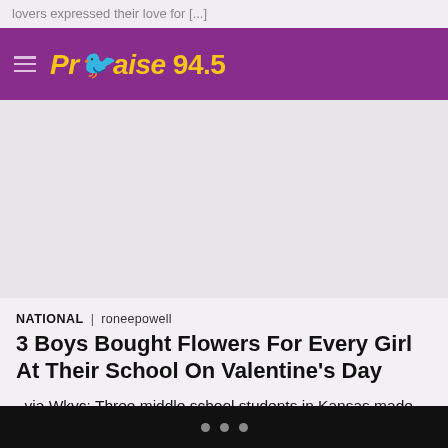lovers expressed their love for [...]
[Figure (logo): Praise 94.5 radio station logo with hamburger menu icon on purple background]
[Figure (other): Advertisement/image placeholder area]
NATIONAL | roneepowell
3 Boys Bought Flowers For Every Girl At Their School On Valentine's Day
via Wkyc: Three middle school students in Kansas made sure every girl and every woman at their school had a special surprise on Valentine's Day. The three boys arranged to buy a flower for
• • •